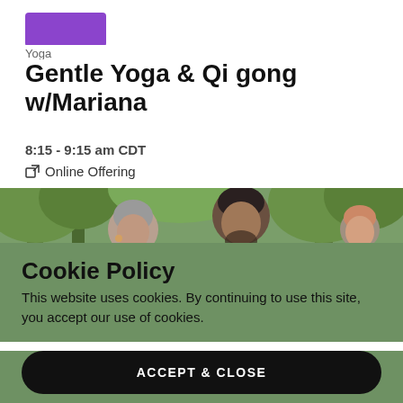[Figure (logo): Purple rectangular logo/button partially visible at top]
Yoga
Gentle Yoga & Qi gong w/Mariana
8:15 - 9:15 am CDT
Online Offering
[Figure (photo): People practicing yoga/qi gong outdoors among trees, showing an older Black woman and a younger man with beard]
Cookie Policy
This website uses cookies. By continuing to use this site, you accept our use of cookies.
ACCEPT & CLOSE